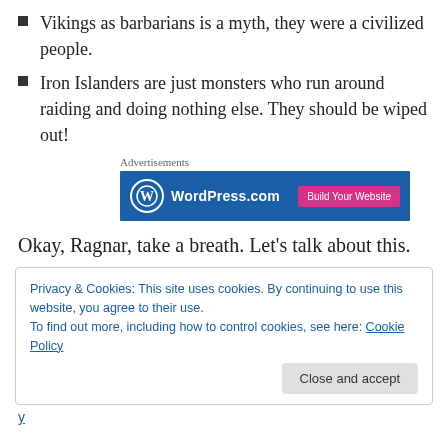Vikings as barbarians is a myth, they were a civilized people.
Iron Islanders are just monsters who run around raiding and doing nothing else. They should be wiped out!
[Figure (other): WordPress.com advertisement banner with blue background and pink 'Build Your Website' button]
Okay, Ragnar, take a breath. Let’s talk about this.
Privacy & Cookies: This site uses cookies. By continuing to use this website, you agree to their use.
To find out more, including how to control cookies, see here: Cookie Policy
Close and accept